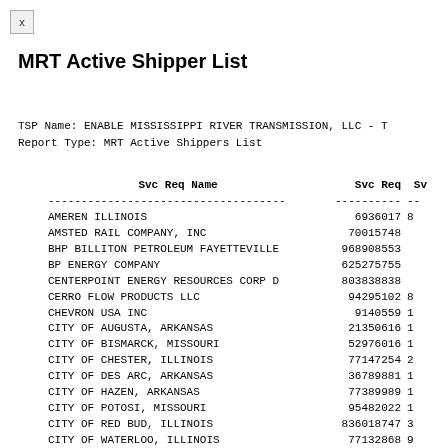MRT Active Shipper List
TSP Name: ENABLE MISSISSIPPI RIVER TRANSMISSION, LLC - T
Report Type: MRT Active Shippers List
| Svc Req Name | Svc Req | Sv |
| --- | --- | --- |
| AMEREN ILLINOIS | 6936017 | 8 |
| AMSTED RAIL COMPANY, INC | 70015748 |  |
| BHP BILLITON PETROLEUM FAYETTEVILLE | 968908553 |  |
| BP ENERGY COMPANY | 625275755 |  |
| CENTERPOINT ENERGY RESOURCES CORP D | 803838838 |  |
| CERRO FLOW PRODUCTS LLC | 94295102 | 8 |
| CHEVRON USA INC | 9140559 | 1 |
| CITY OF AUGUSTA, ARKANSAS | 21350616 | 1 |
| CITY OF BISMARCK, MISSOURI | 52976016 | 1 |
| CITY OF CHESTER, ILLINOIS | 77147254 | 2 |
| CITY OF DES ARC, ARKANSAS | 36789881 | 1 |
| CITY OF HAZEN, ARKANSAS | 77389989 | 1 |
| CITY OF POTOSI, MISSOURI | 95482022 | 1 |
| CITY OF RED BUD, ILLINOIS | 836018747 | 3 |
| CITY OF WATERLOO, ILLINOIS | 77132868 | 9 |
| COLONIAL ENERGY INCORPORATED | 939065520 | 0 |
| CONOCOPHILLIPS COMPANY | 1368265 | 5 |